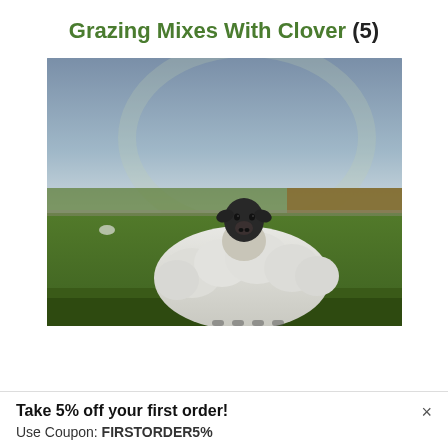Grazing Mixes With Clover (5)
[Figure (photo): A white sheep with a black face resting on green pasture land, with rolling green fields and a grey-blue cloudy sky in the background.]
Take 5% off your first order!
Use Coupon: FIRSTORDER5%